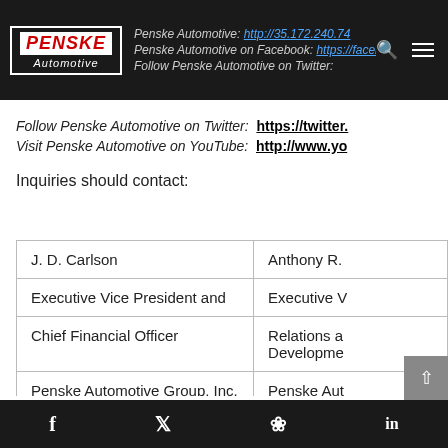Penske Automotive navigation bar with logo, links, search and menu icons
Follow Penske Automotive on Twitter: https://twitter.
Visit Penske Automotive on YouTube: http://www.yo
Inquiries should contact:
|  |  |
| --- | --- |
| J. D. Carlson | Anthony R. |
| Executive Vice President and | Executive V |
| Chief Financial Officer | Relations a
Developme |
| Penske Automotive Group, Inc. | Penske Aut |
| 248-648-2810 | 248-648-2 |
Social media share bar: Facebook, Twitter, Pinterest, LinkedIn